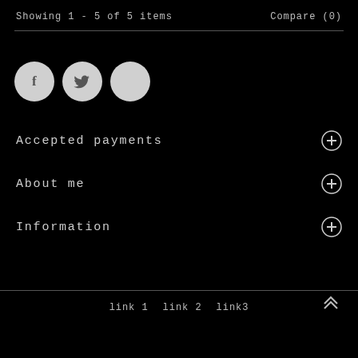Showing 1 - 5 of 5 items    Compare (0)
[Figure (illustration): Three social media icon circles: Facebook (f), Twitter (bird), and a blank/empty circle]
Accepted payments
About me
Information
link 1   link 2   link3